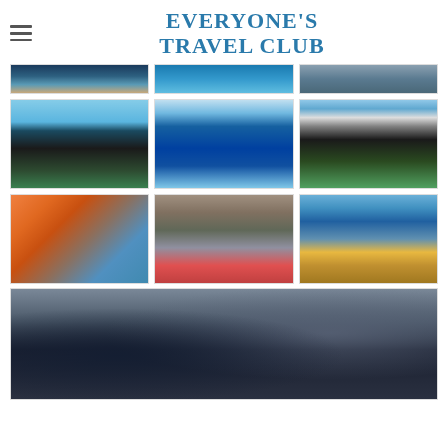EVERYONE'S TRAVEL CLUB
[Figure (photo): Grid of 9 travel/kayaking/ship photos arranged in 3 columns and 3 rows, partially cropped at top]
[Figure (photo): Large wide photo of ship/boat detail, close-up of hull and rigging]